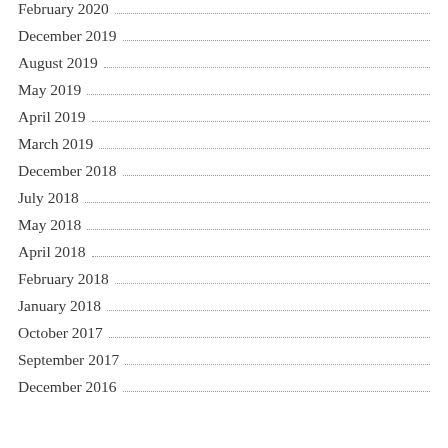February 2020
December 2019
August 2019
May 2019
April 2019
March 2019
December 2018
July 2018
May 2018
April 2018
February 2018
January 2018
October 2017
September 2017
December 2016